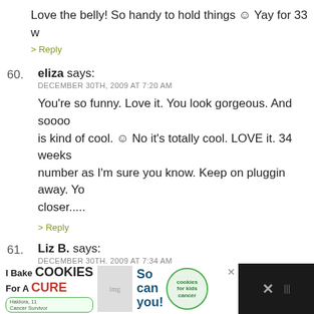Love the belly! So handy to hold things 🙂 Yay for 33 w
> Reply
60. eliza says: DECEMBER 30TH, 2009 AT 7:20 AM — You're so funny. Love it. You look gorgeous. And soooo is kind of cool. 🙂 No it's totally cool. LOVE it. 34 weeks number as I'm sure you know. Keep on pluggin away. Yo closer.....
> Reply
61. Liz B. says: DECEMBER 30TH, 2009 AT 7:34 AM — So happy to see you and Mike and Binky having fun!
> Reply
62. Michelle says:
[Figure (screenshot): Advertisement banner: I Bake COOKIES For A CURE with Haldora, 11 Cancer Survivor, So can you! cookies for kids cancer]